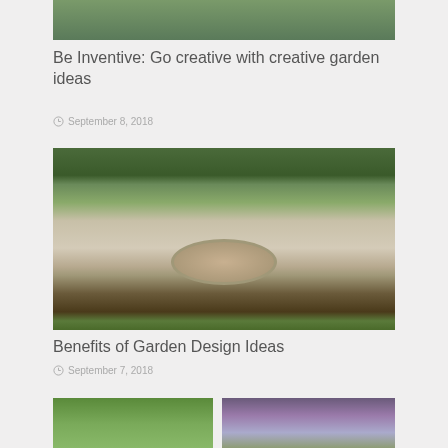[Figure (photo): Garden photos strip showing three panels of garden scenes with plants]
Be Inventive: Go creative with creative garden ideas
September 8, 2018
[Figure (photo): Aerial view of a circular fire pit surrounded by chairs and gravel, with lush garden plantings and a large modern house in the background]
Benefits of Garden Design Ideas
September 7, 2018
[Figure (photo): Two garden photos side by side at the bottom of the page: left shows green leafy plants, right shows purple flowering garden]
[Figure (photo): Purple flowering garden bed]